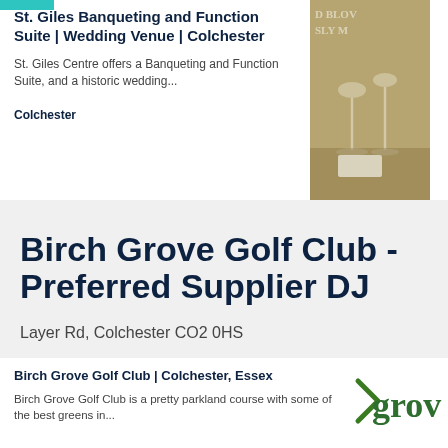St. Giles Banqueting and Function Suite | Wedding Venue | Colchester
St. Giles Centre offers a Banqueting and Function Suite, and a historic wedding...
Colchester
[Figure (photo): Sepia-toned photo of a banquet table setting with wine glasses]
Birch Grove Golf Club - Preferred Supplier DJ
Layer Rd, Colchester CO2 0HS
Birch Grove Golf Club | Colchester, Essex
Birch Grove Golf Club is a pretty parkland course with some of the best greens in...
[Figure (logo): Birch Grove Golf Club logo showing 'grov' text in dark green]